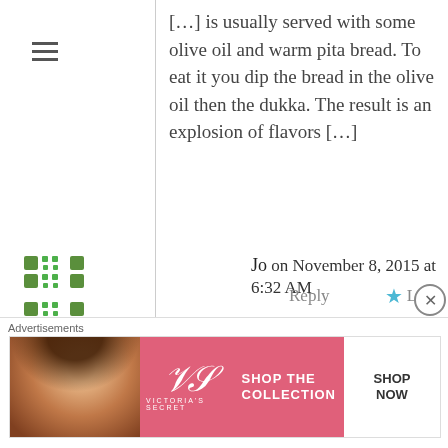[…] is usually served with some olive oil and warm pita bread. To eat it you dip the bread in the olive oil then the dukka. The result is an explosion of flavors […]
Jo on November 8, 2015 at 6:32 AM
Reply   ★ Like
Hi! I just wanted to feed back on how amazing this recipe is. I'm making it for the third week in a row – the dough is so tasty, and the cooked pitas also freeze really well if, like me, you can't get through it all in one week. I don't have a huge oven, so can't bake them
Advertisements
[Figure (screenshot): Victoria's Secret advertisement banner with model photo, VS logo, 'SHOP THE COLLECTION' text, and 'SHOP NOW' button]